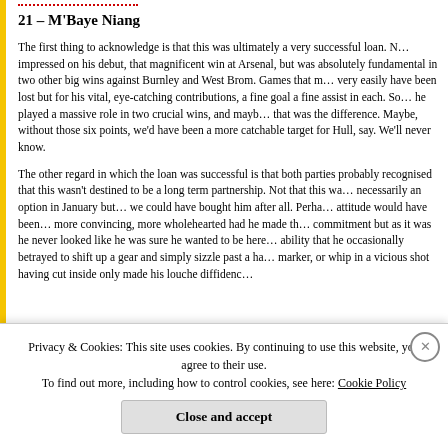21 – M'Baye Niang
The first thing to acknowledge is that this was ultimately a very successful loan. N… impressed on his debut, that magnificent win at Arsenal, but was absolutely fundamental in two other big wins against Burnley and West Brom. Games that m… very easily have been lost but for his vital, eye-catching contributions, a fine goal a fine assist in each. So… he played a massive role in two crucial wins, and mayb… that was the difference. Maybe, without those six points, we'd have been a more catchable target for Hull, say. We'll never know.
The other regard in which the loan was successful is that both parties probably recognised that this wasn't destined to be a long term partnership. Not that this wa… necessarily an option in January but… we could have bought him after all. Perha… attitude would have been… more convincing, more wholehearted had he made th… commitment but as it was he never looked like he was sure he wanted to be here… ability that he occasionally betrayed to shift up a gear and simply sizzle past a ha… marker, or whip in a vicious shot having cut inside only made his louche diffidenc…
Privacy & Cookies: This site uses cookies. By continuing to use this website, you agree to their use.
To find out more, including how to control cookies, see here: Cookie Policy